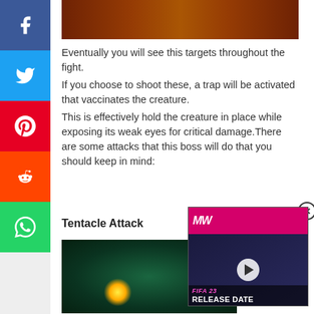[Figure (screenshot): Top portion of a game screenshot showing colorful boss fight scene]
Eventually you will see this targets throughout the fight.
If you choose to shoot these, a trap will be activated that vaccinates the creature.
This is effectively hold the creature in place while exposing its weak eyes for critical damage.There are some attacks that this boss will do that you should keep in mind:
Tentacle Attack
[Figure (screenshot): Game screenshot showing tentacle attack scene with green teal environment and glowing orbs]
[Figure (screenshot): Ad overlay video thumbnail for FIFA 23 Release Date on MW channel with play button]